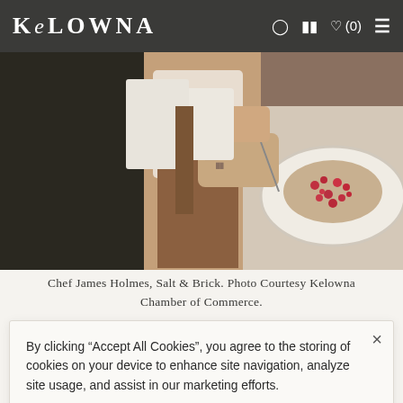KELOWNA [navigation with icons and hamburger menu]
[Figure (photo): A chef with tattooed hands plating food on a dish, wearing a brown apron and white shirt. Close-up of hands garnishing a dish with red berries/pomegranate seeds.]
Chef James Holmes, Salt & Brick. Photo Courtesy Kelowna Chamber of Commerce.
By clicking “Accept All Cookies”, you agree to the storing of cookies on your device to enhance site navigation, analyze site usage, and assist in our marketing efforts.
Accept All Cookies
Cookies Settings